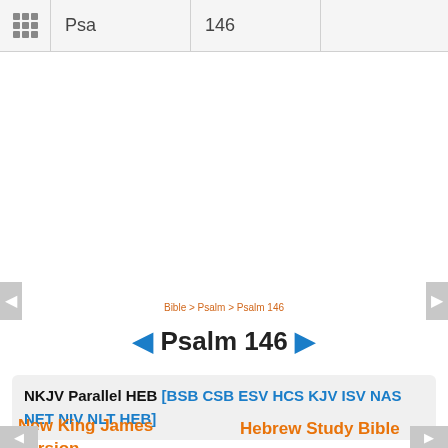⠿ Psa | 146
Bible > Psalm > Psalm 146
◄ Psalm 146 ►
NKJV Parallel HEB [BSB CSB ESV HCS KJV ISV NAS NET NIV NLT HEB]
New King James Version
Hebrew Study Bible